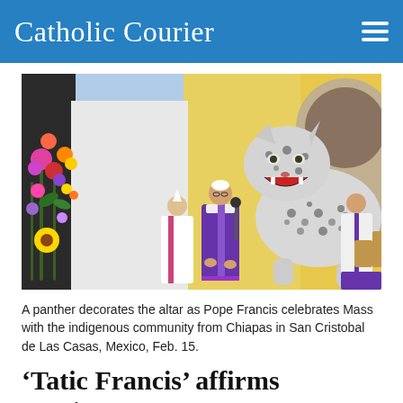Catholic Courier
[Figure (photo): A panther statue decorates the altar as Pope Francis in purple vestments celebrates Mass with clergy, with colorful flowers on the left side, in San Cristobal de Las Casas, Mexico, Feb. 15.]
A panther decorates the altar as Pope Francis celebrates Mass with the indigenous community from Chiapas in San Cristobal de Las Casas, Mexico, Feb. 15.
‘Tatic Francis’ affirms Mexico’s